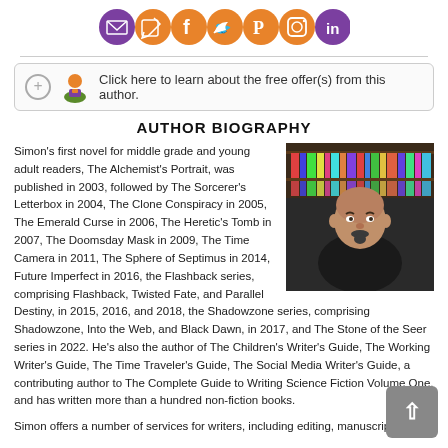[Figure (infographic): Row of seven social media icon circles (mail, edit, facebook, twitter, pinterest, instagram, linkedin) in purple and orange colors]
Click here to learn about the free offer(s) from this author.
AUTHOR BIOGRAPHY
[Figure (photo): Photo of a bald man with a goatee wearing a black shirt, seated in front of a bookshelf filled with colorful books]
Simon's first novel for middle grade and young adult readers, The Alchemist's Portrait, was published in 2003, followed by The Sorcerer's Letterbox in 2004, The Clone Conspiracy in 2005, The Emerald Curse in 2006, The Heretic's Tomb in 2007, The Doomsday Mask in 2009, The Time Camera in 2011, The Sphere of Septimus in 2014, Future Imperfect in 2016, the Flashback series, comprising Flashback, Twisted Fate, and Parallel Destiny, in 2015, 2016, and 2018, the Shadowzone series, comprising Shadowzone, Into the Web, and Black Dawn, in 2017, and The Stone of the Seer series in 2022. He's also the author of The Children's Writer's Guide, The Working Writer's Guide, The Time Traveler's Guide, The Social Media Writer's Guide, a contributing author to The Complete Guide to Writing Science Fiction Volume One, and has written more than a hundred non-fiction books.

Simon offers a number of services for writers, including editing, manuscript